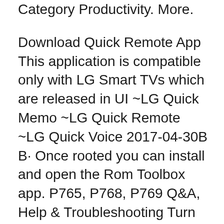Category Productivity. More.
Download Quick Remote App This application is compatible only with LG Smart TVs which are released in UI ~LG Quick Memo ~LG Quick Remote ~LG Quick Voice 2017-04-30B B· Once rooted you can install and open the Rom Toolbox app. P765, P768, P769 Q&A, Help & Troubleshooting Turn off Quick Memo Shortcut XDA App; Remove ads on XDA;
Download Quick memo apps for Android. Reviews, screenshots and comments about Quick memo apps like Quick Memo, Lemo Memo, Cute memo and more Android apps. 2017-04-30B B·